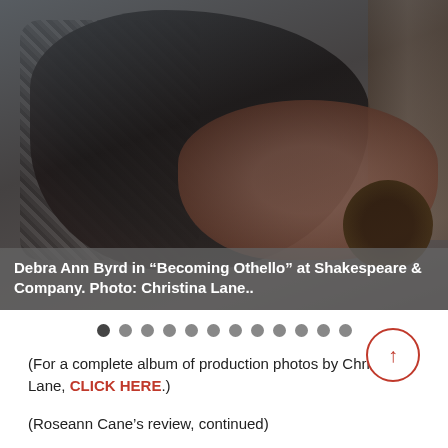[Figure (photo): Debra Ann Byrd in 'Becoming Othello' at Shakespeare & Company. Two figures lying on a bed/couch, one in black clothing on top, the other with curly hair below. Theatrical stage production photo.]
Debra Ann Byrd in “Becoming Othello” at Shakespeare & Company. Photo: Christina Lane..
(For a complete album of production photos by Christina Lane, CLICK HERE.)
(Roseann Cane’s review, continued)
Byrd grew up in Spanish Harlem, the daughter of a Puerto